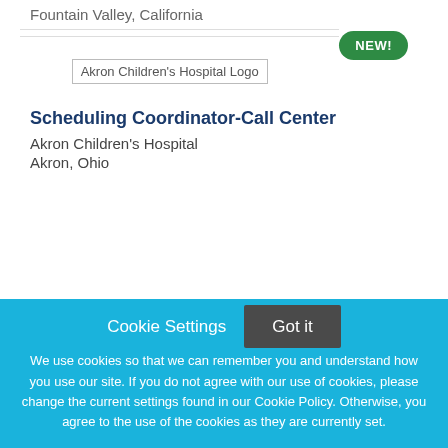Fountain Valley, California
[Figure (logo): Akron Children's Hospital Logo placeholder]
Scheduling Coordinator-Call Center
Akron Children's Hospital
Akron, Ohio (partially visible)
Cookie Settings
Got it
We use cookies so that we can remember you and understand how you use our site. If you do not agree with our use of cookies, please change the current settings found in our Cookie Policy. Otherwise, you agree to the use of the cookies as they are currently set.